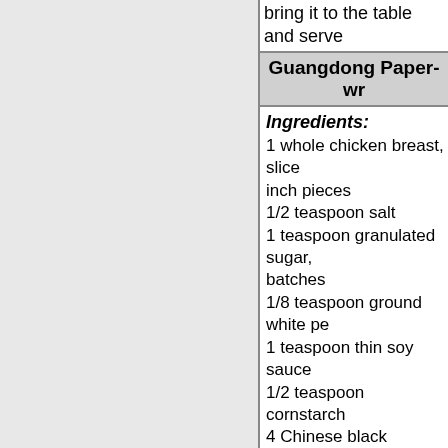bring it to the table and serve
Guangdong Paper-wr
Ingredients:
1 whole chicken breast, slice inch pieces
1/2 teaspoon salt
1 teaspoon granulated sugar, batches
1/8 teaspoon ground white pe
1 teaspoon thin soy sauce
1/2 teaspoon cornstarch
4 Chinese black mushrooms, discarded, then sliced
3 scallions, cut into two-inch
2 slices peeled fresh ginger, s
10 glutinous rice wrappers, e square
2 cups vegetable oil
few sprigs fresh coriander
Preparation:
1. Mix chicken slices with sal the ground pepper, and set a minutes.
2. Bring three cups of water t